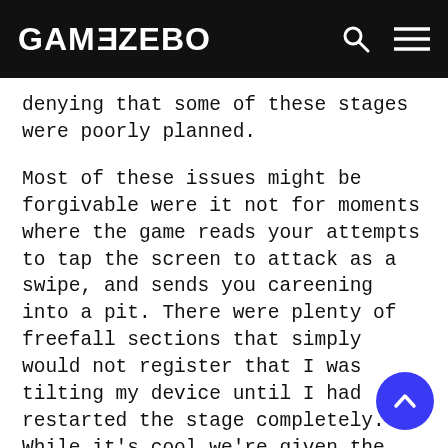GAMEZEBO
denying that some of these stages were poorly planned.
Most of these issues might be forgivable were it not for moments where the game reads your attempts to tap the screen to attack as a swipe, and sends you careening into a pit. There were plenty of freefall sections that simply would not register that I was tilting my device until I had restarted the stage completely. While it's cool we're given the option to invert the Y axis and customize the tilt sensitivity, all too often the calamities that befall your Ranger are the fault of the game, rather than player error a major problem that will hopefully be fixed in the future.